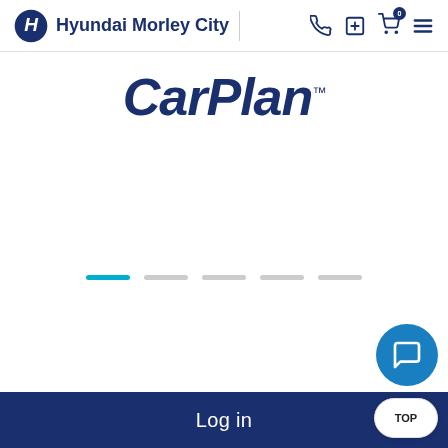Hyundai Morley City
[Figure (logo): CarPlan logo in dark navy italic bold font with TM superscript]
[Figure (other): Carousel dot indicators: 5 dots, first one active (cyan), rest grey]
[Figure (other): Chat bubble button (blue circle) and TOP button in bottom-right corner]
Log in